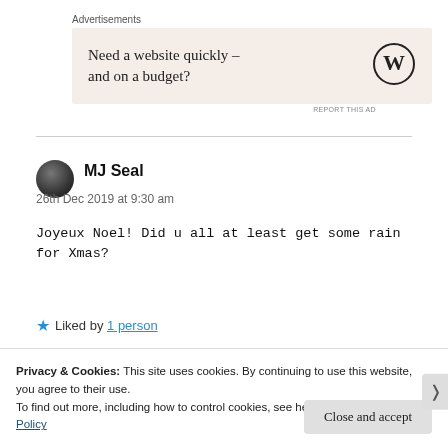Advertisements
[Figure (other): Advertisement banner with text 'Need a website quickly – and on a budget?' and WordPress logo on beige background]
REPORT THIS AD
MJ Seal
26th Dec 2019 at 9:30 am
Joyeux Noel! Did u all at least get some rain for Xmas?
★ Liked by 1 person
Privacy & Cookies: This site uses cookies. By continuing to use this website, you agree to their use. To find out more, including how to control cookies, see here: Cookie Policy